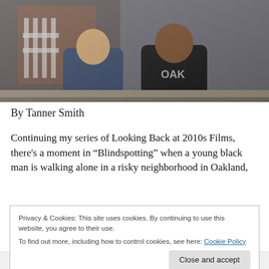[Figure (photo): Two men sitting on steps in front of a building with metal gate, one wearing a blue jacket and one wearing a black t-shirt with 'OAK' text]
By Tanner Smith
Continuing my series of Looking Back at 2010s Films, there’s a moment in “Blindspotting” when a young black man is walking alone in a risky neighborhood in Oakland,
Privacy & Cookies: This site uses cookies. By continuing to use this website, you agree to their use.
To find out more, including how to control cookies, see here: Cookie Policy
Close and accept